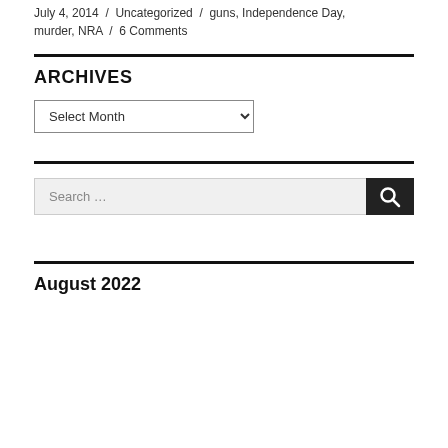July 4, 2014 / Uncategorized / guns, Independence Day, murder, NRA / 6 Comments
ARCHIVES
Select Month (dropdown)
Search ...
August 2022